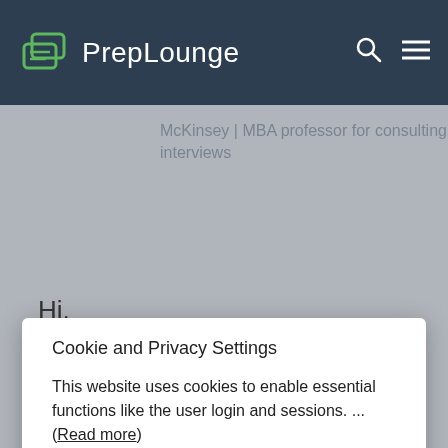PrepLounge
McKinsey | MBA professor for consulting interviews
Hi,
Cookie and Privacy Settings
This website uses cookies to enable essential functions like the user login and sessions. ... (Read more)
I accept
Manage settings individually